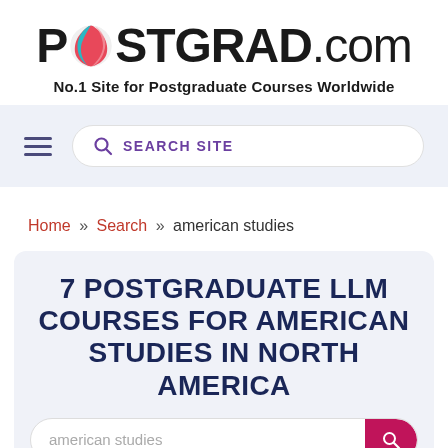[Figure (logo): POSTGRAD.com logo with circular globe icon replacing the letter O]
No.1 Site for Postgraduate Courses Worldwide
[Figure (screenshot): Navigation bar with hamburger menu icon and search site input]
Home » Search » american studies
7 POSTGRADUATE LLM COURSES FOR AMERICAN STUDIES IN NORTH AMERICA
american studies